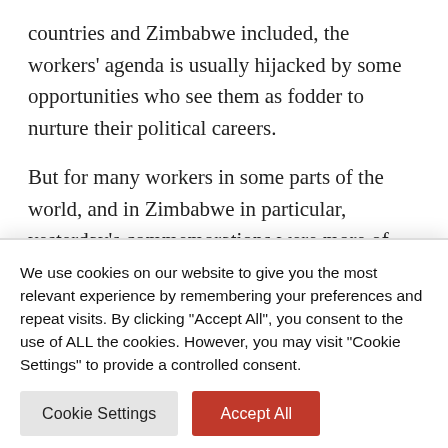countries and Zimbabwe included, the workers' agenda is usually hijacked by some opportunities who see them as fodder to nurture their political careers.
But for many workers in some parts of the world, and in Zimbabwe in particular, yesterday's commemorations were more of observing than celebrating. This is so because in many
We use cookies on our website to give you the most relevant experience by remembering your preferences and repeat visits. By clicking "Accept All", you consent to the use of ALL the cookies. However, you may visit "Cookie Settings" to provide a controlled consent.